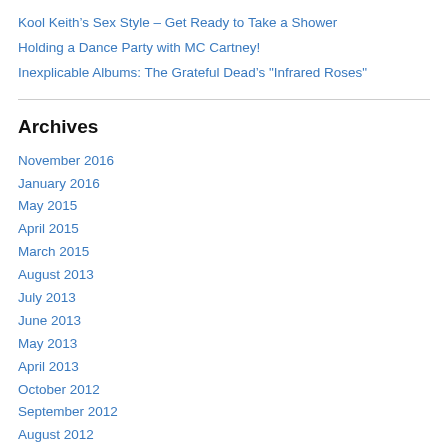Kool Keith's Sex Style – Get Ready to Take a Shower
Holding a Dance Party with MC Cartney!
Inexplicable Albums: The Grateful Dead's "Infrared Roses"
Archives
November 2016
January 2016
May 2015
April 2015
March 2015
August 2013
July 2013
June 2013
May 2013
April 2013
October 2012
September 2012
August 2012